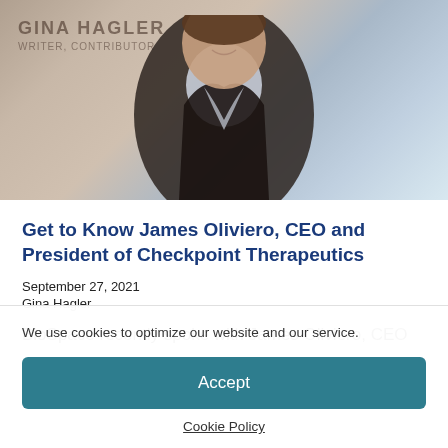[Figure (photo): Photo of James Oliviero, a man in a dark suit jacket with a light shirt, smiling, with an office/building background. Overlaid text reads 'GINA HAGLER / WRITER, CONTRIBUTOR'.]
Get to Know James Oliviero, CEO and President of Checkpoint Therapeutics
September 27, 2021
Gina Hagler
BioSpace recently spoke with James Oliviero, CEO
We use cookies to optimize our website and our service.
Accept
Cookie Policy